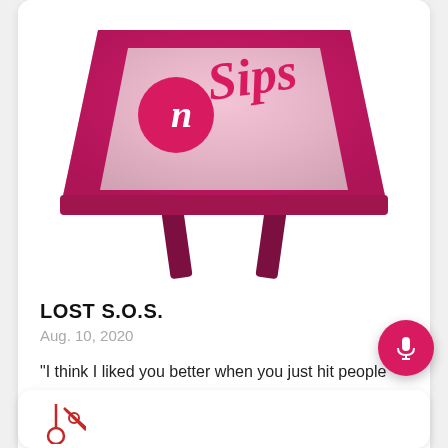[Figure (illustration): Podcast logo showing a retro TV set with 'n Sips' text on the screen in pink cursive on cream background, with dark red/maroon TV legs. The TV set has a pink/red gradient frame.]
LOST S.O.S.
Aug. 10, 2020
"I think I liked you better when you just hit people with your stick." - Bernard Nadler Original episode air date 4/12/06 In this episode: comfortable relationships, missed island feels, & what D.O.C. stands for, In other ne...
[Figure (illustration): Partial view of another podcast card below, showing a red/pink logo with scissors or crossed items visible at bottom edge of page.]